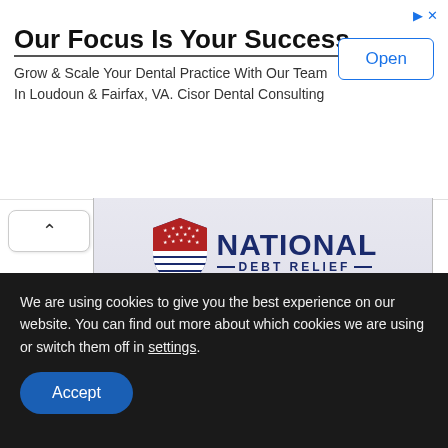[Figure (screenshot): Advertisement banner: 'Our Focus Is Your Success' — Cisor Dental Consulting ad with Open button]
[Figure (infographic): National Debt Relief advertisement card with shield logo, star rating, and 'GET A FREE QUOTE' CTA button. Rated #1 by Top Consumer Reviews for Debt Consolidation.]
We are using cookies to give you the best experience on our website. You can find out more about which cookies we are using or switch them off in settings.